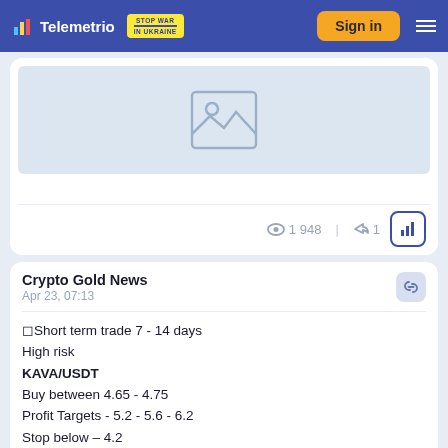Telemetrio — Stop War in Ukraine — Sign in
[Figure (illustration): Image placeholder with mountain/landscape icon on light blue background]
1948 views | 1 share
Crypto Gold News
Apr 23, 07:13
◻Short term trade 7 - 14 days
High risk
KAVA/USDT
Buy between 4.65 - 4.75
Profit Targets - 5.2 - 5.6 - 6.2
Stop below – 4.2
DYOR
@CryptoGold_News ©